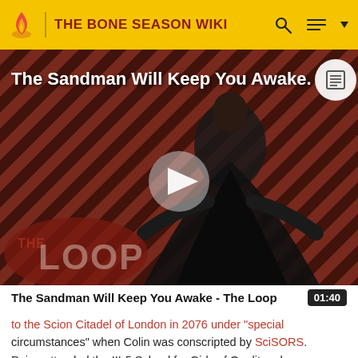THE BONE SEASON WIKI
[Figure (screenshot): Video thumbnail showing a dark-cloaked figure against a red and black diagonal striped background with 'THE LOOP' text overlaid. Title overlay reads 'The Sandman Will Keep You Awake.' with a play button in the center.]
The Sandman Will Keep You Awake - The Loop
to the Scion Citadel of London in 2076 under "special circumstances" when Colin was conscripted by SciSORS. Paige attended the III-5 School for Girls of Quality, where she excelled in Scion History, French, and Physical